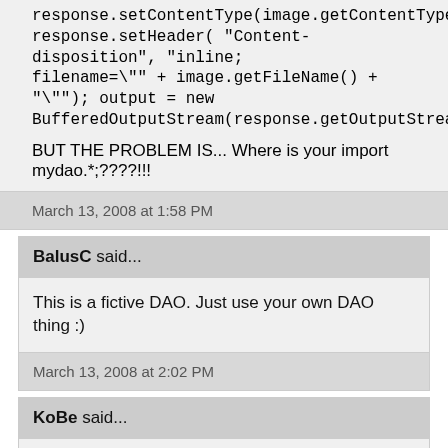response.setContentType(image.getContentType()); response.setHeader( "Content-disposition", "inline; filename=\"" + image.getFileName() + "\""); output = new BufferedOutputStream(response.getOutputStream());
BUT THE PROBLEM IS... Where is your import mydao.*;????!!!
March 13, 2008 at 1:58 PM
BalusC said...
This is a fictive DAO. Just use your own DAO thing :)
March 13, 2008 at 2:02 PM
KoBe said...
WOO, so cool. It is the greatest image retrieve from database example I saw.
April 22, 2008 at 4:26 AM